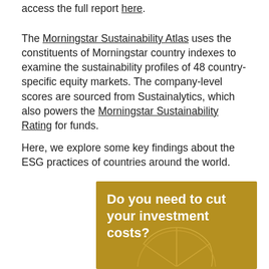access the full report here.
The Morningstar Sustainability Atlas uses the constituents of Morningstar country indexes to examine the sustainability profiles of 48 country-specific equity markets. The company-level scores are sourced from Sustainalytics, which also powers the Morningstar Sustainability Rating for funds.
Here, we explore some key findings about the ESG practices of countries around the world.
[Figure (infographic): Golden/dark yellow banner with bold white text reading 'Do you need to cut your investment costs?' with a partial pie chart graphic at the bottom]